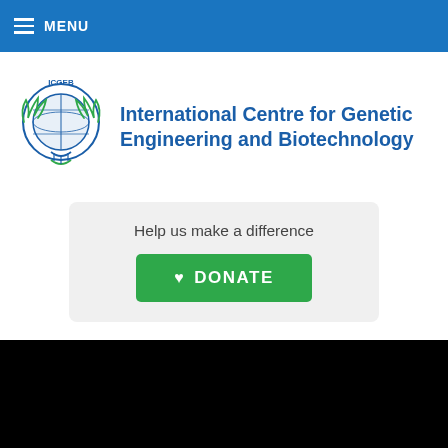MENU
[Figure (logo): ICGEB logo — globe with laurel branches and DNA helix, labeled ICGEB]
International Centre for Genetic Engineering and Biotechnology
Help us make a difference
♥ DONATE